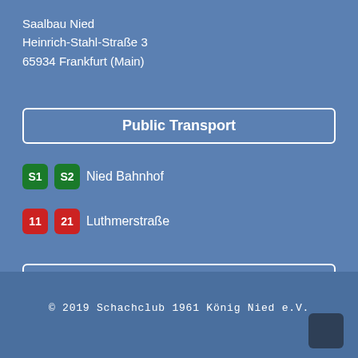Saalbau Nied
Heinrich-Stahl-Straße 3
65934 Frankfurt (Main)
Public Transport
S1 S2  Nied Bahnhof
11 21  Luthmerstraße
Info
Legal Disclosure
Privacy Notice
© 2019 Schachclub 1961 König Nied e.V.